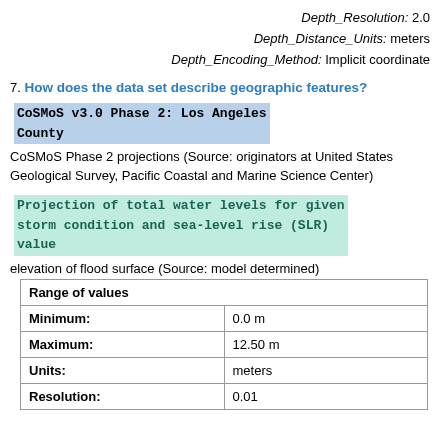Depth_Resolution: 2.0
Depth_Distance_Units: meters
Depth_Encoding_Method: Implicit coordinate
7. How does the data set describe geographic features?
CoSMoS v3.0 Phase 2: Los Angeles County
CoSMoS Phase 2 projections (Source: originators at United States Geological Survey, Pacific Coastal and Marine Science Center)
Projection of total water levels for given storm condition and sea-level rise (SLR) value
elevation of flood surface (Source: model determined)
| Range of values |  |
| --- | --- |
| Minimum: | 0.0 m |
| Maximum: | 12.50 m |
| Units: | meters |
| Resolution: | 0.01 |